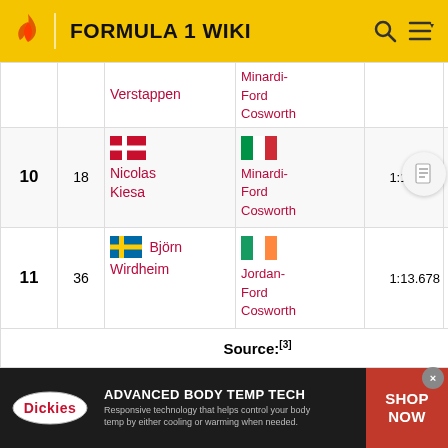FORMULA 1 WIKI
| Pos | No | Driver | Car | Time | Gap |
| --- | --- | --- | --- | --- | --- |
|  |  | Verstappen | Minardi-Ford Cosworth |  |  |
| 10 | 18 | Nicolas Kiesa | Minardi-Ford Cosworth | 1:13.655 | +2.669 |
| 11 | 36 | Björn Wirdheim | Jordan-Ford Cosworth | 1:13.678 | +2.692 |
|  |  | Source:[3] |  |  |  |
[Figure (infographic): Dickies advertisement banner: ADVANCED BODY TEMP TECH. Responsive technology that helps control your body temp by either cooling or warming when needed. SHOP NOW.]